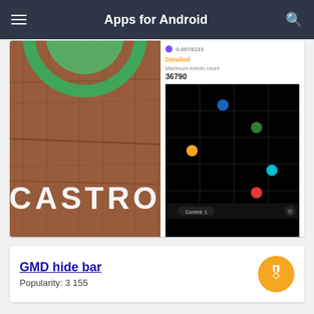Apps for Android
[Figure (screenshot): Castro app screenshot with wooden background and green circle icon with CASTRO text]
[Figure (scatter-plot): Black background scatter plot with colored dots: purple label 0.6678133, Detailed section showing Maximum events count 36790, and colored dots (blue, green, orange, cyan, red) on grid lines. Current: 1 label at bottom.]
GMD hide bar
Popularity: 3 155